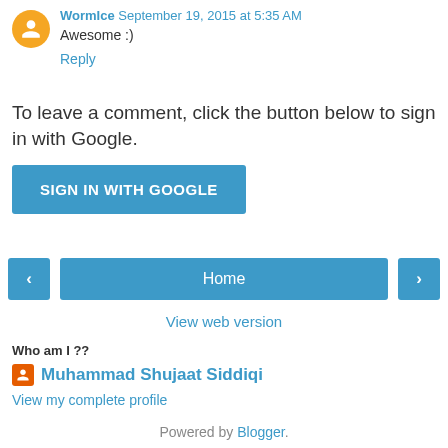WormIce  September 19, 2015 at 5:35 AM
Awesome :)
Reply
To leave a comment, click the button below to sign in with Google.
SIGN IN WITH GOOGLE
[Figure (other): Navigation buttons: left arrow, Home, right arrow]
View web version
Who am I ??
Muhammad Shujaat Siddiqi
View my complete profile
Powered by Blogger.